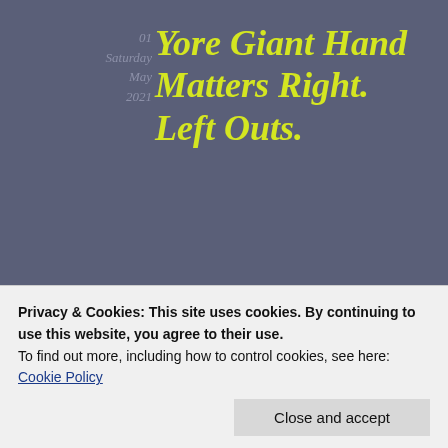01
Saturday
May
2021
Yore Giant Hand Matters Right. Left Outs.
Posted by Shirobanryu in Education, History, Militaryindustryco, Science+Tech
≈ 2 Comments
Tags
[Figure (photo): Close-up photo of rounded purple/lilac shapes, blurred background]
Privacy & Cookies: This site uses cookies. By continuing to use this website, you agree to their use.
To find out more, including how to control cookies, see here:
Cookie Policy
Close and accept